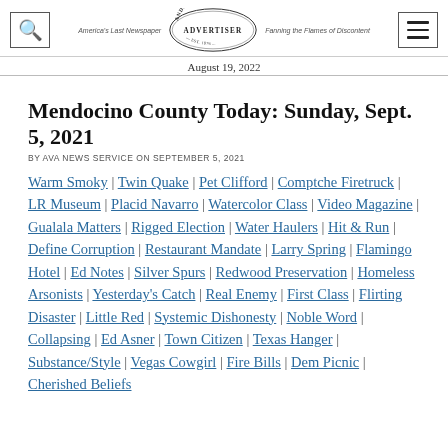Anderson Valley Advertiser — America's Last Newspaper | Fanning the Flames of Discontent | August 19, 2022
Mendocino County Today: Sunday, Sept. 5, 2021
BY AVA NEWS SERVICE ON SEPTEMBER 5, 2021
Warm Smoky | Twin Quake | Pet Clifford | Comptche Firetruck | LR Museum | Placid Navarro | Watercolor Class | Video Magazine | Gualala Matters | Rigged Election | Water Haulers | Hit & Run | Define Corruption | Restaurant Mandate | Larry Spring | Flamingo Hotel | Ed Notes | Silver Spurs | Redwood Preservation | Homeless Arsonists | Yesterday's Catch | Real Enemy | First Class | Flirting Disaster | Little Red | Systemic Dishonesty | Noble Word | Collapsing | Ed Asner | Town Citizen | Texas Hanger | Substance/Style | Vegas Cowgirl | Fire Bills | Dem Picnic | Cherished Beliefs